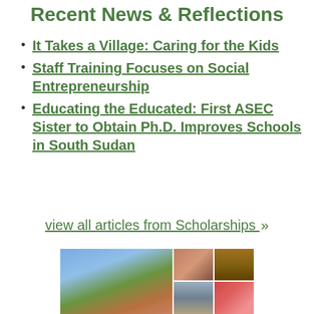Recent News & Reflections
It Takes a Village: Caring for the Kids
Staff Training Focuses on Social Entrepreneurship
Educating the Educated: First ASEC Sister to Obtain Ph.D. Improves Schools in South Sudan
view all articles from Scholarships »
[Figure (photo): Collage of four photos: a group of sisters in blue habits walking outdoors, a close-up of an African child, palm fronds, a landscape, and children playing.]